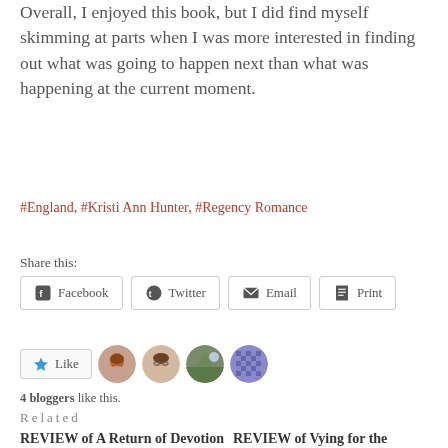Overall, I enjoyed this book, but I did find myself skimming at parts when I was more interested in finding out what was going to happen next than what was happening at the current moment.
#England, #Kristi Ann Hunter, #Regency Romance
Share this:
[Figure (infographic): Social share buttons: Facebook, Twitter, Email, Print]
[Figure (infographic): Like button with star icon and 4 blogger avatars]
4 bloggers like this.
Related
REVIEW of A Return of Devotion (Haven Manor #2)
REVIEW of Vying for the Viscount (Hearts on the